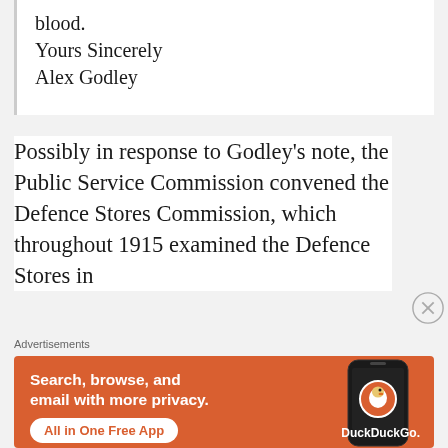blood.
Yours Sincerely
Alex Godley
Possibly in response to Godley's note, the Public Service Commission convened the Defence Stores Commission, which throughout 1915 examined the Defence Stores in
Advertisements
[Figure (other): DuckDuckGo advertisement banner with orange background. Text reads: Search, browse, and email with more privacy. All in One Free App. Shows DuckDuckGo logo and a smartphone graphic.]